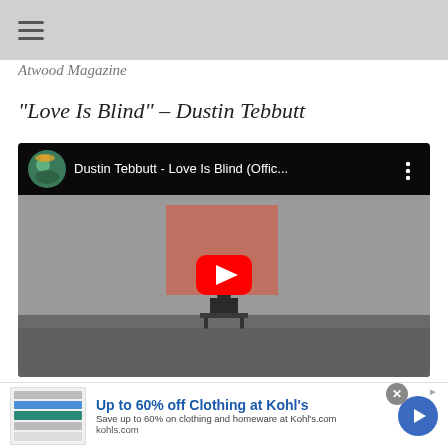Atwood Magazine
"Love Is Blind" – Dustin Tebbutt
[Figure (screenshot): YouTube video embed showing 'Dustin Tebbutt - Love Is Blind (Offic...' with play button overlay. Scene shows a person sitting on a bench facing a dark reddish-pink canvas in an art gallery setting.]
[Figure (screenshot): Advertisement banner: 'Up to 60% off Clothing at Kohl's'. Save up to 60% on clothing and homeware at Kohl's.com. kohls.com. With close button, ad indicator, and blue arrow button.]